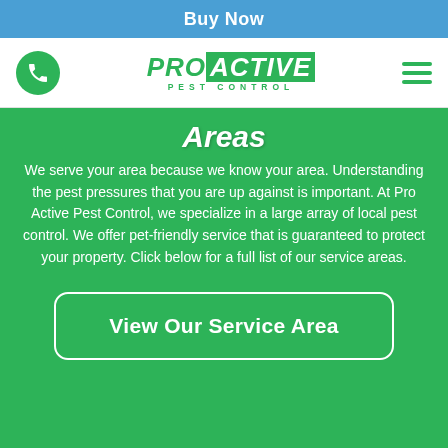Buy Now
[Figure (logo): Pro Active Pest Control logo with phone icon and hamburger menu]
Areas
We serve your area because we know your area. Understanding the pest pressures that you are up against is important. At Pro Active Pest Control, we specialize in a large array of local pest control. We offer pet-friendly service that is guaranteed to protect your property. Click below for a full list of our service areas.
View Our Service Area